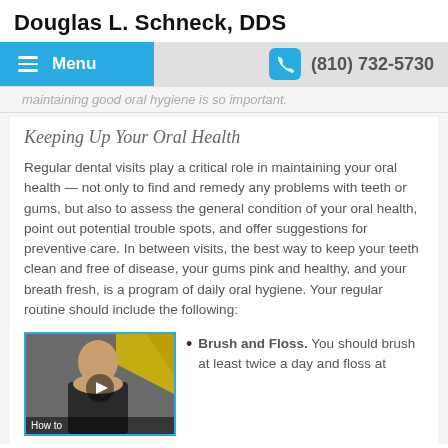Douglas L. Schneck, DDS
Menu | (810) 732-5730
maintaining good oral hygiene is so important.
Keeping Up Your Oral Health
Regular dental visits play a critical role in maintaining your oral health — not only to find and remedy any problems with teeth or gums, but also to assess the general condition of your oral health, point out potential trouble spots, and offer suggestions for preventive care. In between visits, the best way to keep your teeth clean and free of disease, your gums pink and healthy, and your breath fresh, is a program of daily oral hygiene. Your regular routine should include the following:
[Figure (photo): Video thumbnail showing a woman brushing her teeth with text 'How to' at the bottom]
Brush and Floss. You should brush at least twice a day and floss at